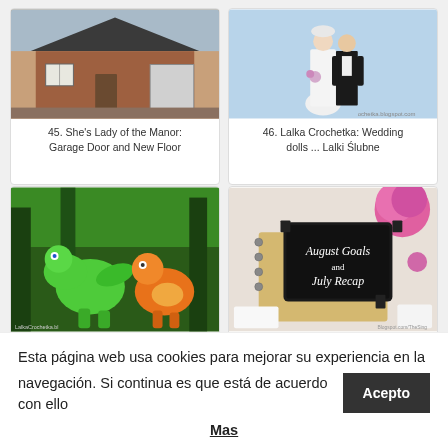[Figure (photo): Photo of a brick house under construction with garage]
45. She’s Lady of the Manor: Garage Door and New Floor
[Figure (photo): Photo of crocheted wedding dolls, bride and groom figures]
46. Lalka Crochetka: Wedding dolls ... Lalki Ślubne
[Figure (photo): Photo of two crocheted dinosaur toys in forest setting]
47. LC: Tiny ‘Dino Train’..Dino Mala ‘Dinopociąg’
[Figure (photo): Photo of a notebook with August Goals and July Recap text on tablet]
48. August Goals and July Recap | Blogger Loves The Ki
Esta página web usa cookies para mejorar su experiencia en la navegación. Si continua es que está de acuerdo con ello
Acepto
Mas